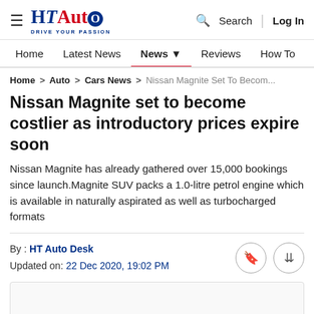HT Auto — Drive Your Passion | Search | Log In
Home | Latest News | News | Reviews | How To | Find Ve...
Home > Auto > Cars News > Nissan Magnite Set To Becom...
Nissan Magnite set to become costlier as introductory prices expire soon
Nissan Magnite has already gathered over 15,000 bookings since launch.Magnite SUV packs a 1.0-litre petrol engine which is available in naturally aspirated as well as turbocharged formats
By : HT Auto Desk
Updated on: 22 Dec 2020, 19:02 PM
[Figure (photo): Article image placeholder (empty/white box)]